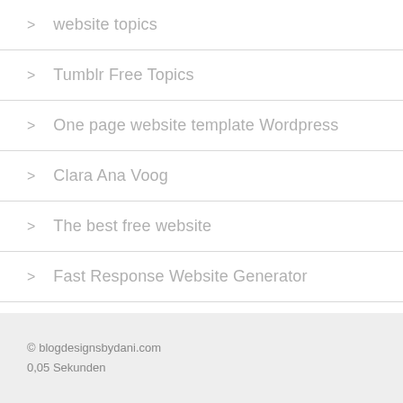website topics
Tumblr Free Topics
One page website template Wordpress
Clara Ana Voog
The best free website
Fast Response Website Generator
Shape Builder App Wix
the Dudaone
Topic Best Blog Wordpress
Ios 9 theme for Android
Sweet itch Rx
Chrome Google for Android
© blogdesignsbydani.com
0,05 Sekunden